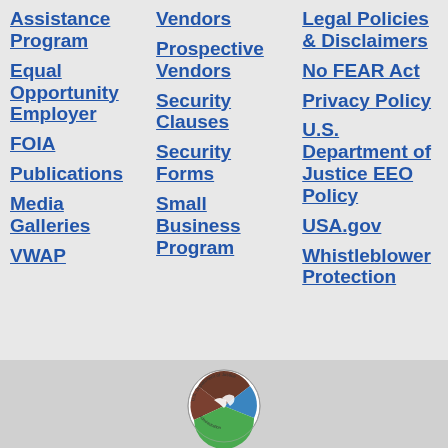Assistance Program
Equal Opportunity Employer
FOIA
Publications
Media Galleries
VWAP
Vendors
Prospective Vendors
Security Clauses
Security Forms
Small Business Program
Legal Policies & Disclaimers
No FEAR Act
Privacy Policy
U.S. Department of Justice EEO Policy
USA.gov
Whistleblower Protection
[Figure (logo): U.S. Department of Justice seal/logo, circular emblem with brown, blue and green colors]